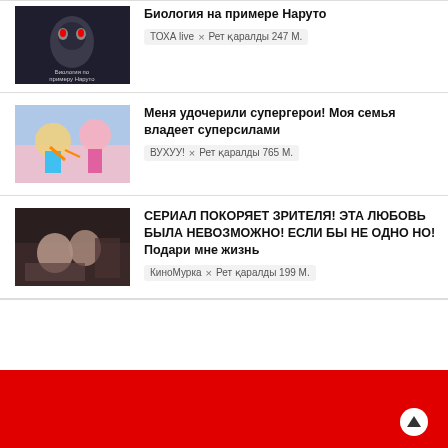[Figure (screenshot): Thumbnail for 'Биология на примере Наруто' - dark animated character image]
Биология на примере Наруто
ТОХА live × Рет қаралды 247 М.
[Figure (screenshot): Thumbnail for 'Меня удочерили супергерои!' - colorful kids scene]
Меня удочерили супергерои! Моя семья владеет суперсилами
ВУХУУ! × Рет қаралды 765 М.
[Figure (screenshot): Thumbnail for 'СЕРИАЛ ПОКОРЯЕТ ЗРИТЕЛЯ!' - dark romantic drama scene]
СЕРИАЛ ПОКОРЯЕТ ЗРИТЕЛЯ! ЭТА ЛЮБОВЬ БЫЛА НЕВОЗМОЖНО! ЕСЛИ БЫ НЕ ОДНО НО! Подари мне жизнь
КиноМурка × Рет қаралды 199 М.